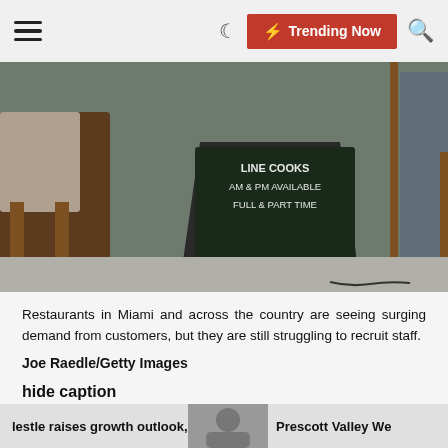☰  🌙  ⚡ Trending Now  🔍
[Figure (photo): A chalkboard sign outside a restaurant reads LINE COOKS AM & PM AVAILABLE FULL & PART TIME, with restaurant chairs and a glass door visible in the background.]
Restaurants in Miami and across the country are seeing surging demand from customers, but they are still struggling to recruit staff.
Joe Raedle/Getty Images
hide caption
toggle caption
Joe Raedle/Getty Images
lestle raises growth outlook, eyes    Prescott Valley We